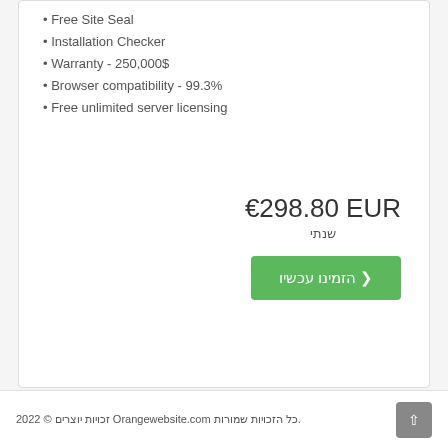• Free Site Seal
• Installation Checker
• Warranty - 250,000$
• Browser compatibility - 99.3%
• Free unlimited server licensing
€298.80 EUR
שנתי
הזמינו עכשיו ❯
.כל הזכויות שמורות Orangewebsite.com זכויות יוצרים © 2022